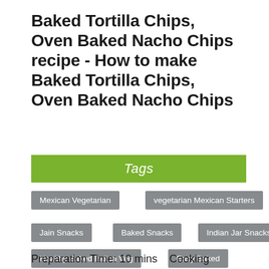Baked Tortilla Chips, Oven Baked Nacho Chips recipe - How to make Baked Tortilla Chips, Oven Baked Nacho Chips
Tags
Mexican Vegetarian
vegetarian Mexican Starters
Jain Snacks
Baked Snacks
Indian Jar Snacks
Healthy Baked Indian Veg
Easy Baked
Preparation Time: 10 mins   Cooking